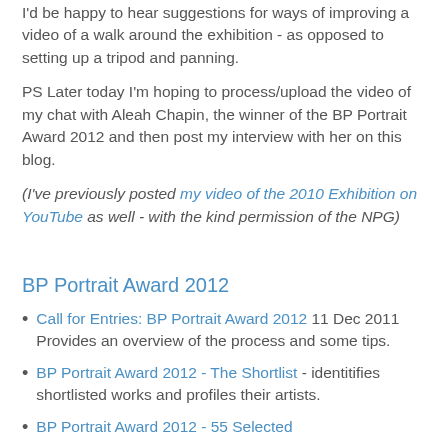I'd be happy to hear suggestions for ways of improving a video of a walk around the exhibition - as opposed to setting up a tripod and panning.
PS Later today I'm hoping to process/upload the video of my chat with Aleah Chapin, the winner of the BP Portrait Award 2012 and then post my interview with her on this blog.
(I've previously posted my video of the 2010 Exhibition on YouTube as well - with the kind permission of the NPG)
BP Portrait Award 2012
Call for Entries: BP Portrait Award 2012 11 Dec 2011 Provides an overview of the process and some tips.
BP Portrait Award 2012 - The Shortlist - identitifies shortlisted works and profiles their artists.
BP Portrait Award 2012 - 55 Selected